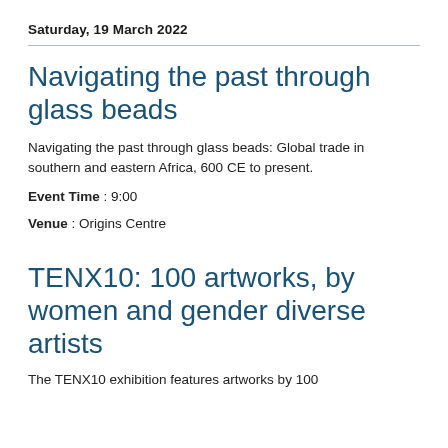Saturday, 19 March 2022
Navigating the past through glass beads
Navigating the past through glass beads: Global trade in southern and eastern Africa, 600 CE to present.
Event Time : 9:00
Venue : Origins Centre
TENX10: 100 artworks, by women and gender diverse artists
The TENX10 exhibition features artworks by 100